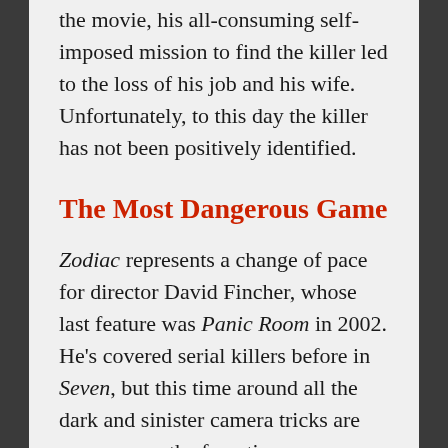the movie, his all-consuming self-imposed mission to find the killer led to the loss of his job and his wife. Unfortunately, to this day the killer has not been positively identified.
The Most Dangerous Game
Zodiac represents a change of pace for director David Fincher, whose last feature was Panic Room in 2002. He's covered serial killers before in Seven, but this time around all the dark and sinister camera tricks are gone, as are the frenetic